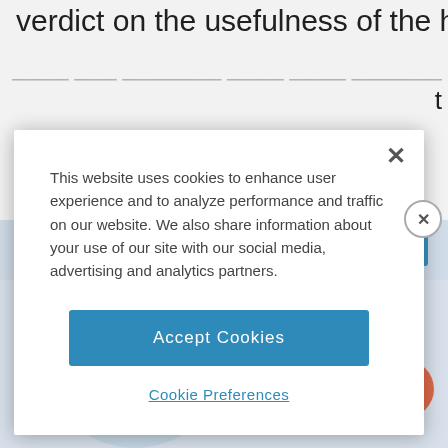verdict on the usefulness of the humidifier isn't
[Figure (screenshot): Cookie consent modal overlay on a webpage. The modal contains a close X button, a message about cookie usage, an 'Accept Cookies' blue button, and a 'Cookie Preferences' link. Behind the modal is an advertisement banner for luggage tracking with 'find your luggage quickly!' text and an advertisement section labeled 'ADVERTISEMENT' with 'Did you' text and 'BAG PATCH' branding.]
This website uses cookies to enhance user experience and to analyze performance and traffic on our website. We also share information about your use of our site with our social media, advertising and analytics partners.
Accept Cookies
Cookie Preferences
ADVERTISEMENT